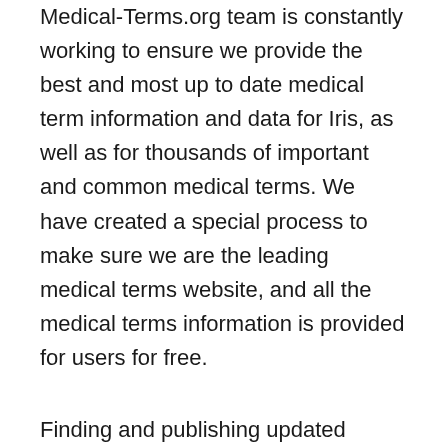Medical-Terms.org team is constantly working to ensure we provide the best and most up to date medical term information and data for Iris, as well as for thousands of important and common medical terms. We have created a special process to make sure we are the leading medical terms website, and all the medical terms information is provided for users for free.
Finding and publishing updated information & data for Iris – Medical Term is our daily task and we take it very seriously. But sometimes our users find new information for Iris – Medical Term and they send it to us. Found